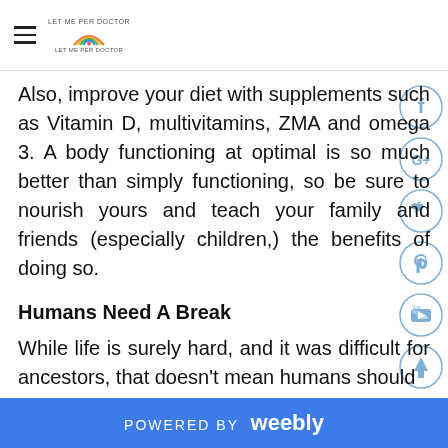Let Me Per Doctor [logo with rainbow and heart]
Also, improve your diet with supplements such as Vitamin D, multivitamins, ZMA and omega 3. A body functioning at optimal is so much better than simply functioning, so be sure to nourish yourself and teach your family and friends (especially children,) the benefits of doing so.
Humans Need A Break
While life is surely hard, and it was difficult for ancestors, that doesn't mean humans should
POWERED BY weebly